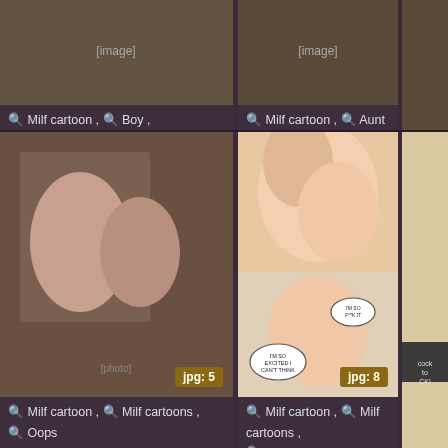[Figure (photo): Top-left thumbnail image]
Milf cartoon , Boy , Teacher
[Figure (photo): Top-center thumbnail image]
Milf cartoon , Aunt
[Figure (photo): Top-right thumbnail image (partial)]
Mil... Car...
[Figure (photo): Middle-left photo, jpg:5]
Milf cartoon , Milf cartoons , Oops
[Figure (illustration): Middle-center comic illustration, jpg:8]
Milf cartoon , Milf cartoons , Kitchen
[Figure (illustration): Middle-right comic illustration (partial)]
Mil...
[Figure (illustration): Bottom-left comic illustration]
[Figure (illustration): Bottom-center illustration]
[Figure (illustration): Bottom-right illustration (partial)]